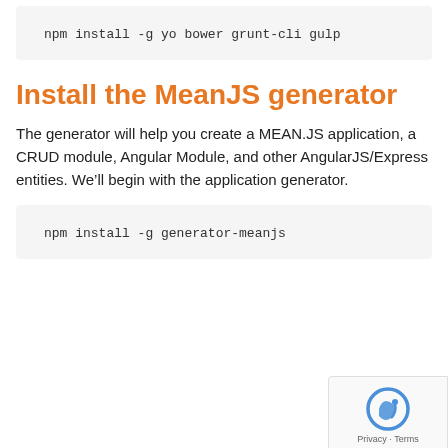npm install -g yo bower grunt-cli gulp
Install the MeanJS generator
The generator will help you create a MEAN.JS application, a CRUD module, Angular Module, and other AngularJS/Express entities. We’ll begin with the application generator.
npm install -g generator-meanjs
[Figure (other): reCAPTCHA Privacy - Terms overlay badge in bottom right corner]